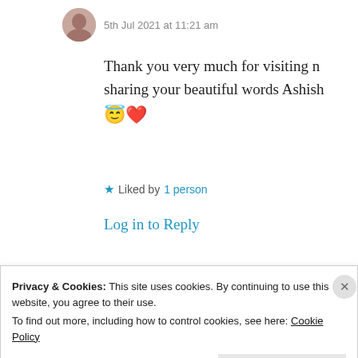5th Jul 2021 at 11:21 am
Thank you very much for visiting n sharing your beautiful words Ashish 😇❤️
★ Liked by 1 person
Log in to Reply
Cindy Georgakas
Privacy & Cookies: This site uses cookies. By continuing to use this website, you agree to their use. To find out more, including how to control cookies, see here: Cookie Policy
Close and accept